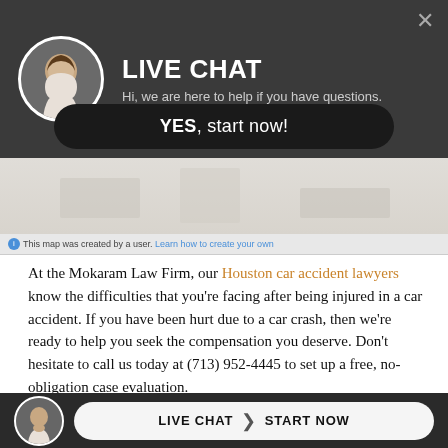[Figure (screenshot): Live chat popup header with circular avatar photo of a woman, title 'LIVE CHAT', subtitle text, close button, and a 'YES, start now!' button on dark background]
[Figure (screenshot): Partially visible map with a notice about user-created map and learn how link]
At the Mokaram Law Firm, our Houston car accident lawyers know the difficulties that you're facing after being injured in a car accident. If you have been hurt due to a car crash, then we're ready to help you seek the compensation you deserve. Don't hesitate to call us today at (713) 952-4445 to set up a free, no-obligation case evaluation.
Tags: accident houston, houston texas accident, houston wreck
[Figure (screenshot): Bottom live chat bar with avatar, 'LIVE CHAT > START NOW' button]